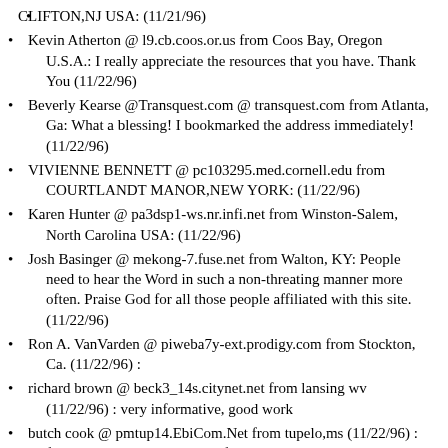CLIFTON,NJ USA: (11/21/96)
Kevin Atherton @ l9.cb.coos.or.us from Coos Bay, Oregon U.S.A.: I really appreciate the resources that you have. Thank You (11/22/96)
Beverly Kearse @Transquest.com @ transquest.com from Atlanta, Ga: What a blessing! I bookmarked the address immediately! (11/22/96)
VIVIENNE BENNETT @ pc103295.med.cornell.edu from COURTLANDT MANOR,NEW YORK: (11/22/96)
Karen Hunter @ pa3dsp1-ws.nr.infi.net from Winston-Salem, North Carolina USA: (11/22/96)
Josh Basinger @ mekong-7.fuse.net from Walton, KY: People need to hear the Word in such a non-threating manner more often. Praise God for all those people affiliated with this site. (11/22/96)
Ron A. VanVarden @ piweba7y-ext.prodigy.com from Stockton, Ca. (11/22/96) :
richard brown @ beck3_14s.citynet.net from lansing wv (11/22/96) : very informative, good work
butch cook @ pmtup14.EbiCom.Net from tupelo,ms (11/22/96) : freely you have recieved,and freely you have given...
Max Grossnickle <> @ ncn185.ncn.net from Laurens, Iowa (11/22/96) : Thanks for the Bible helps!
RICHARD KEMP <102714,122> @ ad36-180.compuserve.com from SALEM, VA. (11/22/96) :
Claudio A. Ruiz @ 9.Pool1.Ascend05.MIA.Icanect.Net from Loxahatchee, Florida (11/22/96) : Excellent work!! God bless you